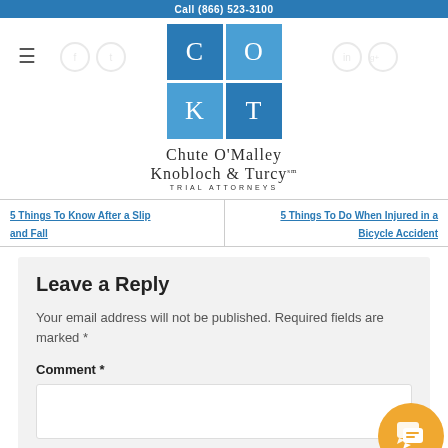Call (866) 523-3100
[Figure (logo): Chute O'Malley Knobloch & Turcy law firm logo — four colored square tiles with letters C, O, K, T — and firm name text below]
5 Things To Know After a Slip and Fall  |  5 Things To Do When Injured in a Bicycle Accident
Leave a Reply
Your email address will not be published. Required fields are marked *
Comment *